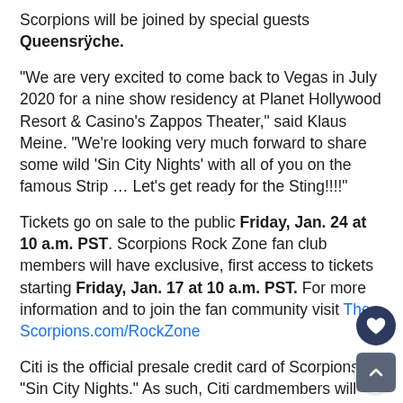Scorpions will be joined by special guests Queensrÿche.
“We are very excited to come back to Vegas in July 2020 for a nine show residency at Planet Hollywood Resort & Casino’s Zappos Theater,” said Klaus Meine. “We’re looking very much forward to share some wild ‘Sin City Nights’ with all of you on the famous Strip … Let’s get ready for the Sting!!!!”
Tickets go on sale to the public Friday, Jan. 24 at 10 a.m. PST. Scorpions Rock Zone fan club members will have exclusive, first access to tickets starting Friday, Jan. 17 at 10 a.m. PST. For more information and to join the fan community visit The-Scorpions.com/RockZone
Citi is the official presale credit card of Scorpions “Sin City Nights.” As such, Citi cardmembers will have access to purchase presale tickets beginning Monday, Jan. 20 at 10 a.m.